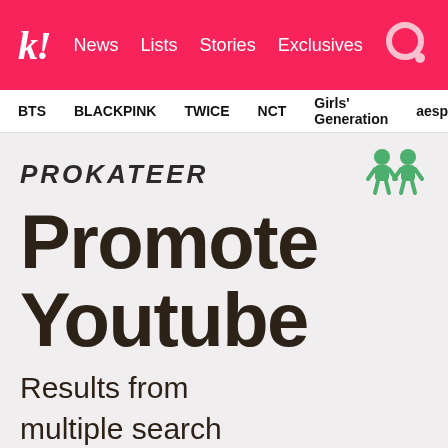k! News Lists Stories Exclusives
BTS BLACKPINK TWICE NCT Girls' Generation aespa
PROKATEER
Promote Youtube
Results from multiple search engines combined